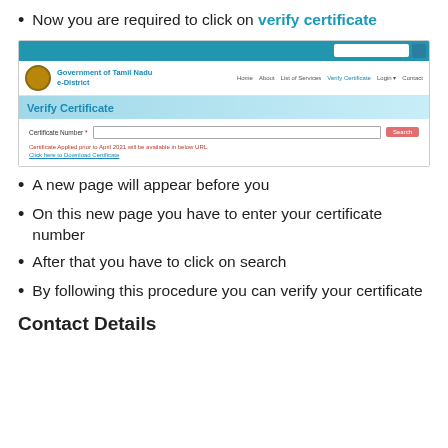Now you are required to click on verify certificate
[Figure (screenshot): Government of Tamil Nadu e-District website showing the Verify Certificate page with a certificate number input field, Search button, and notice about certificates prior to April 2021.]
A new page will appear before you
On this new page you have to enter your certificate number
After that you have to click on search
By following this procedure you can verify your certificate
Contact Details